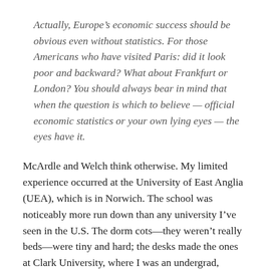Actually, Europe’s economic success should be obvious even without statistics. For those Americans who have visited Paris: did it look poor and backward? What about Frankfurt or London? You should always bear in mind that when the question is which to believe — official economic statistics or your own lying eyes — the eyes have it.
McArdle and Welch think otherwise. My limited experience occurred at the University of East Anglia (UEA), which is in Norwich. The school was noticeably more run down than any university I’ve seen in the U.S. The dorm cots—they weren’t really beds—were tiny and hard; the desks made the ones at Clark University, where I was an undergrad, wonderful by comparison; and the campus had a general feeling of dilapidation that was enhanced by graffiti on walls...